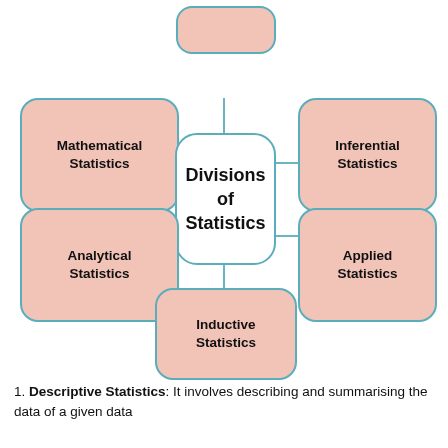[Figure (flowchart): Mind-map style diagram showing 'Divisions of Statistics' in the center connected to five surrounding nodes: Mathematical Statistics (top-left), Inferential Statistics (top-right), Analytical Statistics (middle-left), Applied Statistics (middle-right), Inductive Statistics (bottom-center). A partial node is visible at top-center.]
1. Descriptive Statistics: It involves describing and summarising the data of a given data